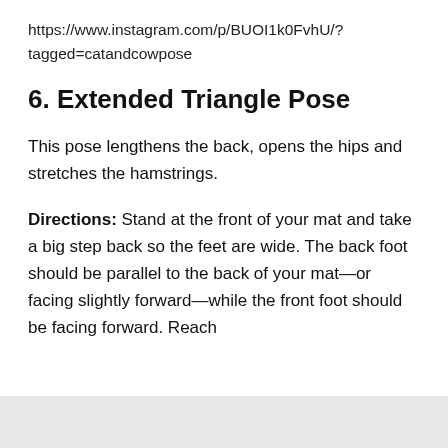https://www.instagram.com/p/BUOI1k0FvhU/?tagged=catandcowpose
6. Extended Triangle Pose
This pose lengthens the back, opens the hips and stretches the hamstrings.
Directions: Stand at the front of your mat and take a big step back so the feet are wide. The back foot should be parallel to the back of your mat—or facing slightly forward—while the front foot should be facing forward. Reach